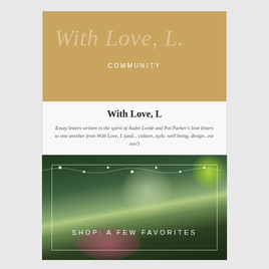[Figure (illustration): Golden/tan colored banner with watermark text 'With Love, L.' and centered label 'COMMUNITY' in white uppercase letters]
With Love, L
Essay letters written in the spirit of Audre Lorde and Pat Parker's love letters to one another from With Love, L (and... culture, style, well being, design...etc too!)
[Figure (photo): Dark outdoor night scene with string lights hanging across the top, large lens flare/bokeh effect in center-right, pink flowers at bottom, with text overlay 'SHOP: A FEW FAVORITES' in white uppercase letters]